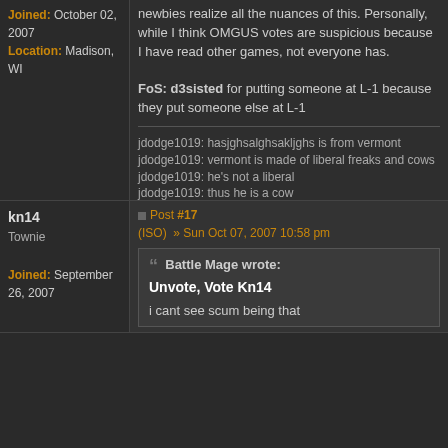Joined: October 02, 2007
Location: Madison, WI
newbies realize all the nuances of this. Personally, while I think OMGUS votes are suspicious because I have read other games, not everyone has.

FoS: d3sisted for putting someone at L-1 because they put someone else at L-1
jdodge1019: hasjghsalghsakljghs is from vermont
jdodge1019: vermont is made of liberal freaks and cows
jdodge1019: he's not a liberal
jdodge1019: thus he is a cow
kn14
Townie
Joined: September 26, 2007
Post #17
(ISO) » Sun Oct 07, 2007 10:58 pm
Battle Mage wrote:
Unvote, Vote Kn14

i cant see scum being that